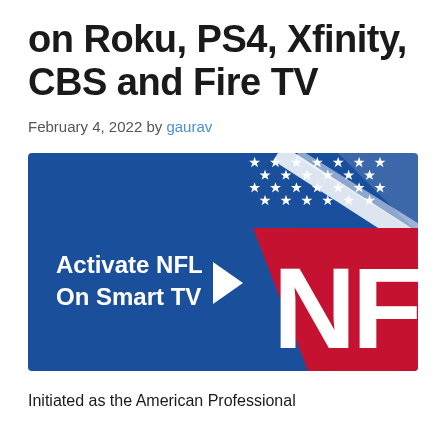on Roku, PS4, Xfinity, CBS and Fire TV
February 4, 2022 by gaurav
[Figure (illustration): NFL activation banner showing blue background with stars, white diagonal stripe, 'Activate NFL On Smart TV' text on left, and NFL shield logo letters on right in red and white]
Initiated as the American Professional